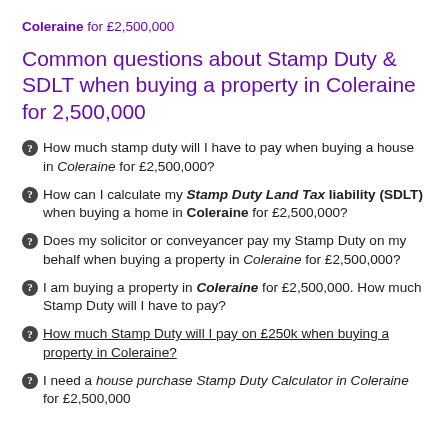Coleraine for £2,500,000
Common questions about Stamp Duty & SDLT when buying a property in Coleraine for 2,500,000
How much stamp duty will I have to pay when buying a house in Coleraine for £2,500,000?
How can I calculate my Stamp Duty Land Tax liability (SDLT) when buying a home in Coleraine for £2,500,000?
Does my solicitor or conveyancer pay my Stamp Duty on my behalf when buying a property in Coleraine for £2,500,000?
I am buying a property in Coleraine for £2,500,000. How much Stamp Duty will I have to pay?
How much Stamp Duty will I pay on £250k when buying a property in Coleraine?
I need a house purchase Stamp Duty Calculator in Coleraine for £2,500,000